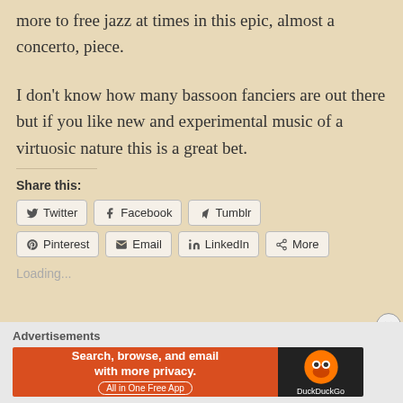more to free jazz at times in this epic, almost a concerto, piece.
I don't know how many bassoon fanciers are out there but if you like new and experimental music of a virtuosic nature this is a great bet.
Share this:
[Figure (screenshot): Social share buttons: Twitter, Facebook, Tumblr, Pinterest, Email, LinkedIn, More]
Loading...
Advertisements
[Figure (screenshot): DuckDuckGo advertisement: Search, browse, and email with more privacy. All in One Free App]